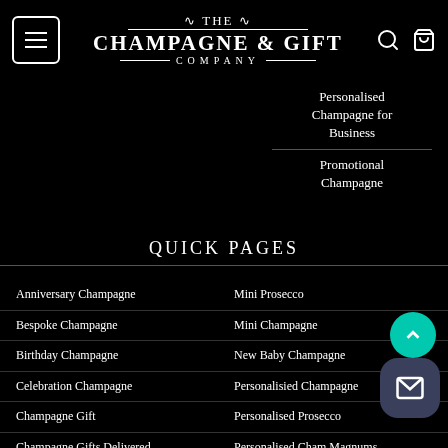[Figure (logo): The Champagne & Gift Company logo with decorative scroll, white text on black background]
Personalised Champagne for Business
Promotional Champagne
QUICK PAGES
Anniversary Champagne
Mini Prosecco
Bespoke Champagne
Mini Champagne
Birthday Champagne
New Baby Champagne
Celebration Champagne
Personalisied Champagne
Champagne Gift
Personalised Prosecco
Champagne Gifts Delivered
Personalised Champagne Magnums
Champagne & Chocolates
Personalised Valentines